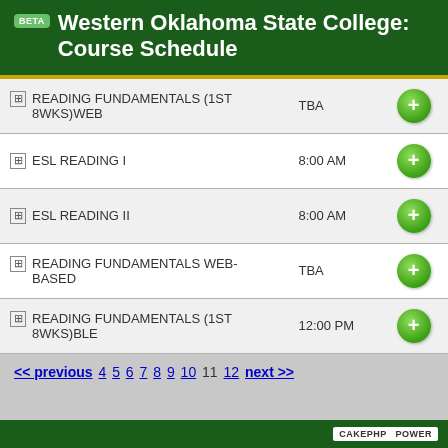Western Oklahoma State College: Course Schedule
| Course | Time | Add |
| --- | --- | --- |
| READING FUNDAMENTALS (1ST 8WKS)WEB | TBA | + |
| ESL READING I | 8:00 AM | + |
| ESL READING II | 8:00 AM | + |
| READING FUNDAMENTALS WEB-BASED | TBA | + |
| READING FUNDAMENTALS (1ST 8WKS)BLE | 12:00 PM | + |
<< previous 4 5 6 7 8 9 10 11 12 next >>
CAKEPHP POWER